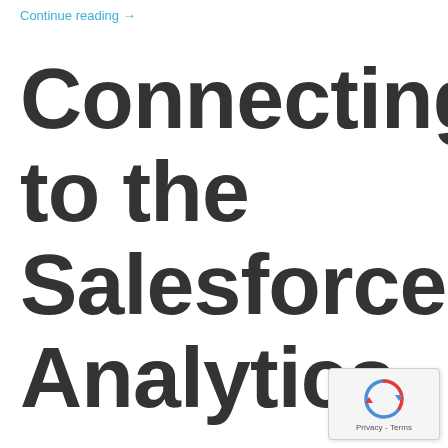Continue reading →
Connecting to the Salesforce Analytics
[Figure (other): reCAPTCHA widget showing a refresh/recaptcha icon with 'Privacy - Terms' text below]